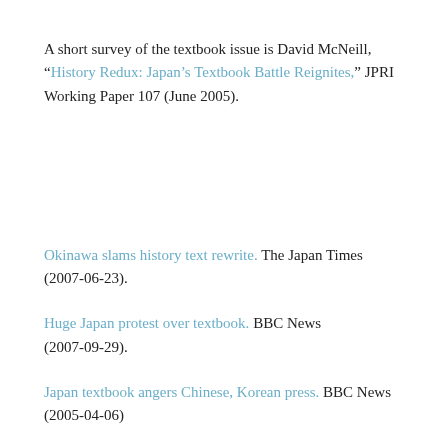A short survey of the textbook issue is David McNeill, “History Redux: Japan’s Textbook Battle Reignites,” JPRI Working Paper 107 (June 2005).
Okinawa slams history text rewrite. The Japan Times (2007-06-23).
Huge Japan protest over textbook. BBC News (2007-09-29).
Japan textbook angers Chinese, Korean press. BBC News (2005-04-06)